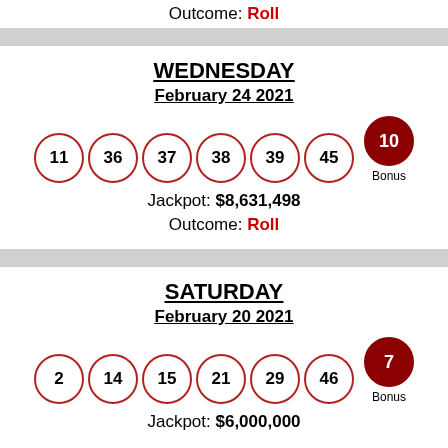Outcome: Roll
WEDNESDAY
February 24 2021
11 36 37 38 39 45 | Bonus: 10
Jackpot: $8,631,498
Outcome: Roll
SATURDAY
February 20 2021
2 14 15 21 29 46 | Bonus: 7
Jackpot: $6,000,000